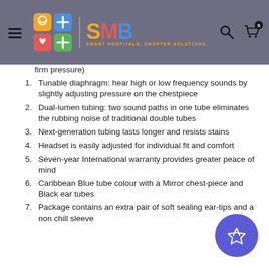SMB - Smart Hospitals. Smarter Solutions.
firm pressure)
Tunable diaphragm: hear high or low frequency sounds by slightly adjusting pressure on the chestpiece
Dual-lumen tubing: two sound paths in one tube eliminates the rubbing noise of traditional double tubes
Next-generation tubing lasts longer and resists stains
Headset is easily adjusted for individual fit and comfort
Seven-year International warranty provides greater peace of mind
Caribbean Blue tube colour with a Mirror chest-piece and Black ear tubes
Package contains an extra pair of soft sealing ear-tips and a non chill sleeve